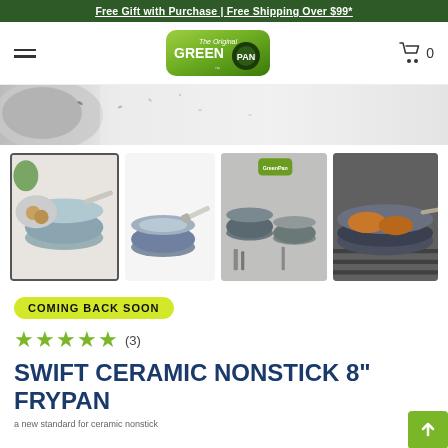Free Gift with Purchase | Free Shipping Over $99*
[Figure (logo): GreenPan logo - green rounded rectangle with The Original GreenPan text]
[Figure (photo): Hero banner showing a bowl with grains/seeds on a marble surface]
[Figure (photo): Product thumbnail 1: Ceramic frypan with eggs and ingredients (selected/active)]
[Figure (photo): Product thumbnail 2: Single gray ceramic frypan on white background]
[Figure (photo): Product thumbnail 3: GreenPan cookware set display]
[Figure (photo): Product thumbnail 4: Frypan cooking food on stovetop]
COMING BACK SOON
★★★★★ (3)
SWIFT CERAMIC NONSTICK 8" FRYPAN